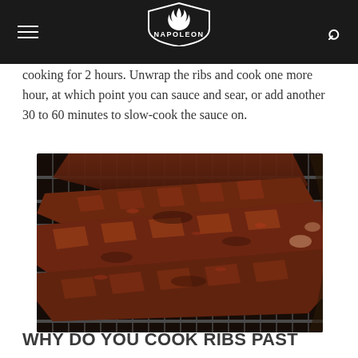NAPOLEON
cooking for 2 hours. Unwrap the ribs and cook one more hour, at which point you can sauce and sear, or add another 30 to 60 minutes to slow-cook the sauce on.
[Figure (photo): Rack of BBQ ribs cooking on a round charcoal grill grate, showing heavily seasoned and charred meat with visible grill marks]
WHY DO YOU COOK RIBS PAST